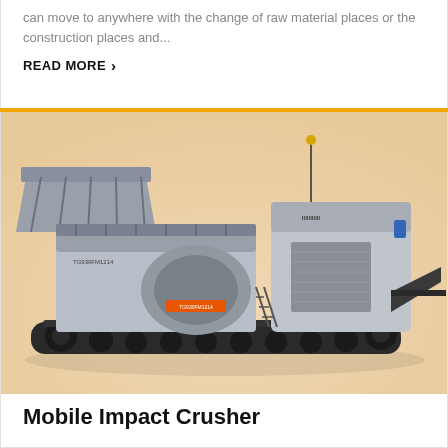can move to anywhere with the change of raw material places or the construction places and...
READ MORE ›
[Figure (photo): Mobile impact crusher machine on tracked undercarriage, side view showing the crushing unit, conveyor belt, and mechanical components. The machine is labeled TG930FM1214.]
Mobile Impact Crusher